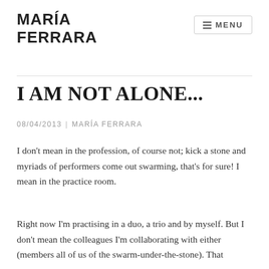MARÍA FERRARA
MENU
I AM NOT ALONE...
08/04/2013 | MARÍA FERRARA
I don't mean in the profession, of course not; kick a stone and myriads of performers come out swarming, that's for sure! I mean in the practice room.
Right now I'm practising in a duo, a trio and by myself. But I don't mean the colleagues I'm collaborating with either (members all of us of the swarm-under-the-stone). That